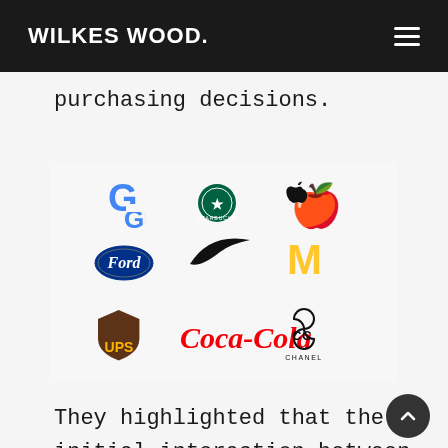WILKES WOOD.
purchasing decisions.
[Figure (logo): Grid of 9 brand logos arranged 3x3: Google, Starbucks, Apple (top row); Ford, Nike, McDonald's (middle row); UPS, Coca-Cola, Chanel (bottom row)]
They highlighted that the initial interaction between